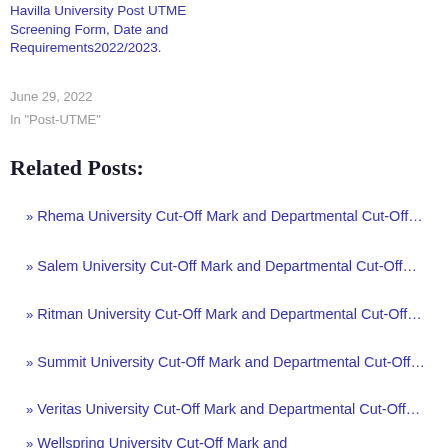Havilla University Post UTME Screening Form, Date and Requirements2022/2023.
June 29, 2022
In "Post-UTME"
Related Posts:
Rhema University Cut-Off Mark and Departmental Cut-Off…
Salem University Cut-Off Mark and Departmental Cut-Off…
Ritman University Cut-Off Mark and Departmental Cut-Off…
Summit University Cut-Off Mark and Departmental Cut-Off…
Veritas University Cut-Off Mark and Departmental Cut-Off…
Wellspring University Cut-Off Mark and